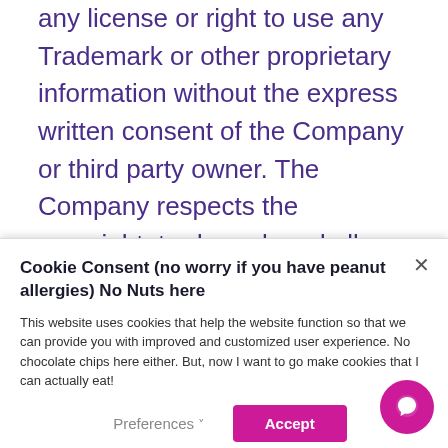any license or right to use any Trademark or other proprietary information without the express written consent of the Company or third party owner. The Company respects the copyright, trademark and all other intellectual property rights of others. The Company [continues...]
Cookie Consent (no worry if you have peanut allergies) No Nuts here
This website uses cookies that help the website function so that we can provide you with improved and customized user experience. No chocolate chips here either. But, now I want to go make cookies that I can actually eat!